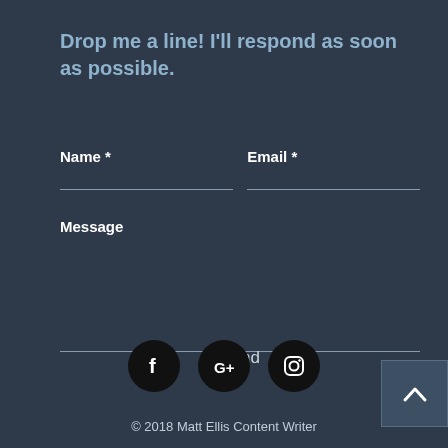Drop me a line! I'll respond as soon as possible.
[Figure (screenshot): Contact form with Name, Email, and Message fields and a Send button]
[Figure (infographic): Back to top button (caret/arrow up icon) in a dark box, bottom-right]
[Figure (infographic): Social media icons: Facebook, Google+, Instagram circles in black]
© 2018 Matt Ellis Content Writer